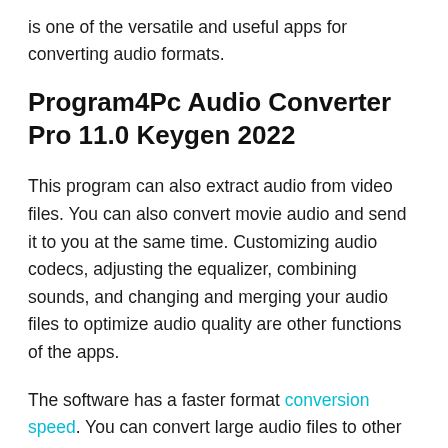is one of the versatile and useful apps for converting audio formats.
Program4Pc Audio Converter Pro 11.0 Keygen 2022
This program can also extract audio from video files. You can also convert movie audio and send it to you at the same time. Customizing audio codecs, adjusting the equalizer, combining sounds, and changing and merging your audio files to optimize audio quality are other functions of the apps.
The software has a faster format conversion speed. You can convert large audio files to other formats in seconds, which optimizes and reduces the...